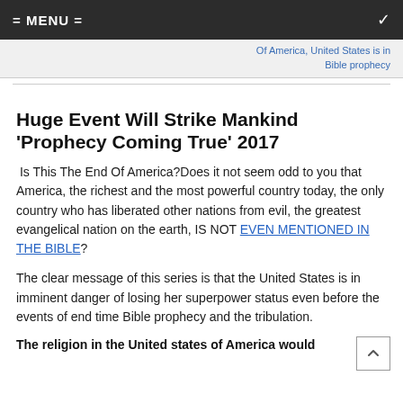= MENU =
Of America, United States is in Bible prophecy
Huge Event Will Strike Mankind 'Prophecy Coming True' 2017
Is This The End Of America?Does it not seem odd to you that America, the richest and the most powerful country today, the only country who has liberated other nations from evil, the greatest evangelical nation on the earth, IS NOT EVEN MENTIONED IN THE BIBLE?
The clear message of this series is that the United States is in imminent danger of losing her superpower status even before the events of end time Bible prophecy and the tribulation.
The religion in the United states of America would